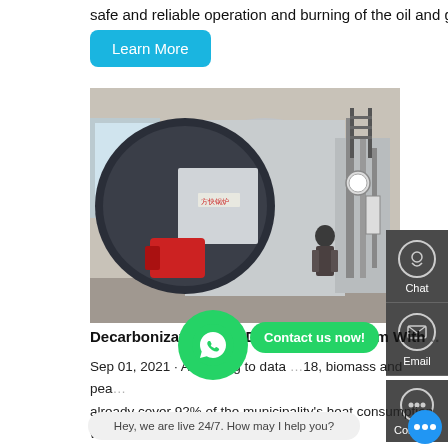safe and reliable operation and burning of the oil and gas …
Learn More
[Figure (photo): Industrial oil and gas boiler (方快锅炉 brand) installed in a factory building, with a large cylindrical body, red burner at front, pipes and pressure gauges visible, worker standing in background]
Decarbonization Of A Distr…ting System With …
Sep 01, 2021 · According to data …18, biomass and pea… already cover 92% of the municipality's heat consumption, wh… the rest is produc… by liquid fuel oil (5.6%) and liquefied petroleum gas (LPG) (2.4%). Since the main boiler can flexibly use b…